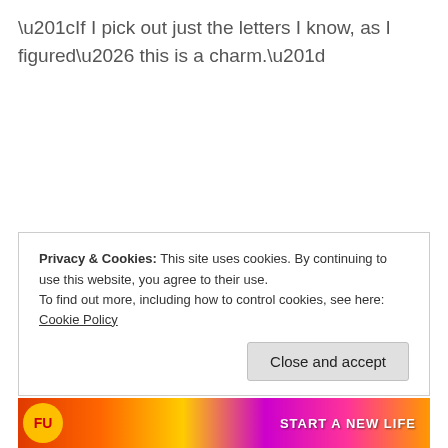“If I pick out just the letters I know, as I figured… this is a charm.”
Privacy & Cookies: This site uses cookies. By continuing to use this website, you agree to their use.
To find out more, including how to control cookies, see here: Cookie Policy
Close and accept
[Figure (other): Colorful advertisement banner with text START A NEW LIFE]